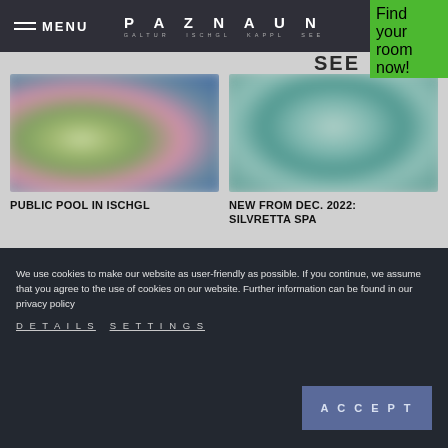MENU | PAZNAUN | GALTUR ISCHGL KAPPL SEE
Find your room now!
SEE
[Figure (photo): Blurred outdoor photo related to public pool in Ischgl]
PUBLIC POOL IN ISCHGL
[Figure (photo): Blurred outdoor photo related to Silvretta Spa]
NEW FROM DEC. 2022: SILVRETTA SPA
We use cookies to make our website as user-friendly as possible. If you continue, we assume that you agree to the use of cookies on our website. Further information can be found in our privacy policy
DETAILS   SETTINGS
ACCEPT